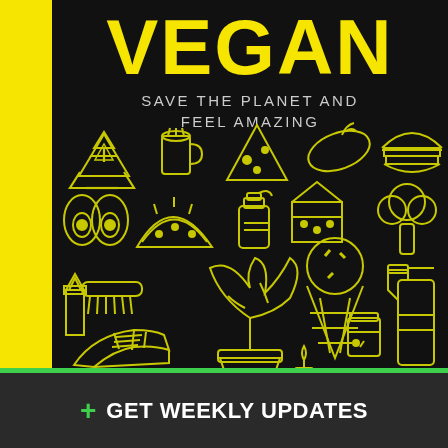VEGAN
SAVE THE PLANET AND FEEL AMAZING
[Figure (illustration): Collection of yellow outline icons on black background including: recycling symbol, coffee cup, pizza slice, eggplant, burger, avocado halves, watermelon slice, perfume bottle, cake slice, broccoli, lipstick, hair comb, sneaker shoe, monstera plant in pot, ice cream cone, spray bottle, candle, small jar with plant]
+ GET WEEKLY UPDATES